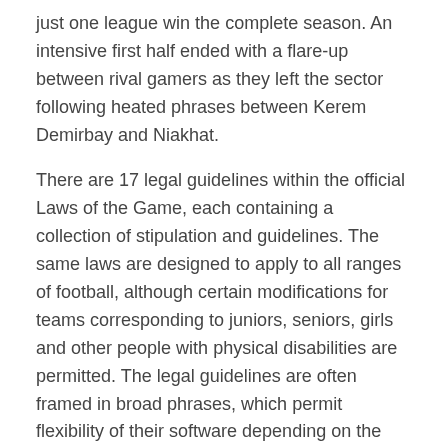just one league win the complete season. An intensive first half ended with a flare-up between rival gamers as they left the sector following heated phrases between Kerem Demirbay and Niakhat.
There are 17 legal guidelines within the official Laws of the Game, each containing a collection of stipulation and guidelines. The same laws are designed to apply to all ranges of football, although certain modifications for teams corresponding to juniors, seniors, girls and other people with physical disabilities are permitted. The legal guidelines are often framed in broad phrases, which permit flexibility of their software depending on the character of the game. The Laws of the Game are published by FIFA, however are maintained by the International Football Association Board . In addition to the seventeen laws, quite a few IFAB choices and other directives contribute to the regulation of football. These positions are further subdivided based on the world of the sphere by which the player spends probably the most time.